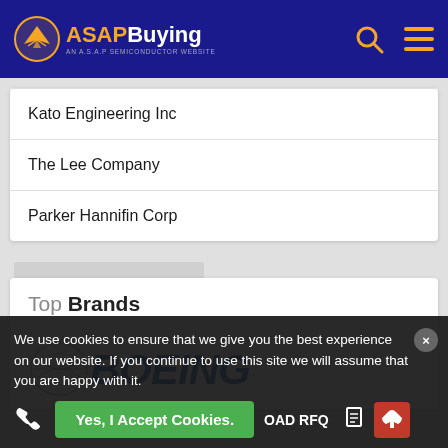ASAP Buying — AN A.S.A.P SEMICONDUCTOR WEBSITE
Kato Engineering Inc
The Lee Company
Parker Hannifin Corp
Top Brands
[Figure (logo): Boeing company logo with circular emblem on left and blue Boeing wordmark on right]
We use cookies to ensure that we give you the best experience on our website. If you continue to use this site we will assume that you are happy with it.